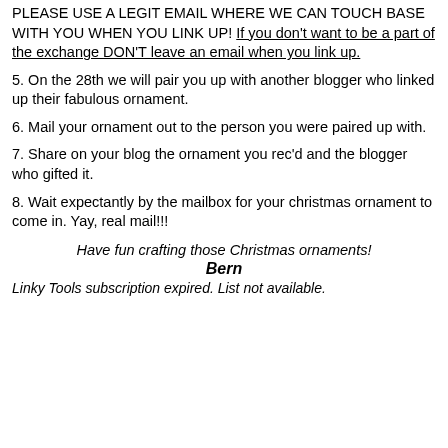PLEASE USE A LEGIT EMAIL WHERE WE CAN TOUCH BASE WITH YOU WHEN YOU LINK UP! If you don't want to be a part of the exchange DON'T leave an email when you link up.
5. On the 28th we will pair you up with another blogger who linked up their fabulous ornament.
6. Mail your ornament out to the person you were paired up with.
7. Share on your blog the ornament you rec'd and the blogger who gifted it.
8. Wait expectantly by the mailbox for your christmas ornament to come in. Yay, real mail!!!
Have fun crafting those Christmas ornaments!
Bern
Linky Tools subscription expired. List not available.